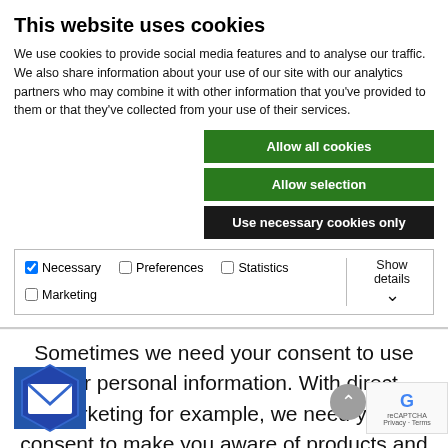This website uses cookies
We use cookies to provide social media features and to analyse our traffic. We also share information about your use of our site with our analytics partners who may combine it with other information that you've provided to them or that they've collected from your use of their services.
Allow all cookies
Allow selection
Use necessary cookies only
Necessary  Preferences  Statistics  Marketing  Show details
of Consent
Sometimes we need your consent to use your personal information. With direct marketing for example, we need your consent to make you aware of products and services which may be of interest to you. We may do this by phone, post, email, text or through other digital media. You can decide how much direct marketing you want to accept when you